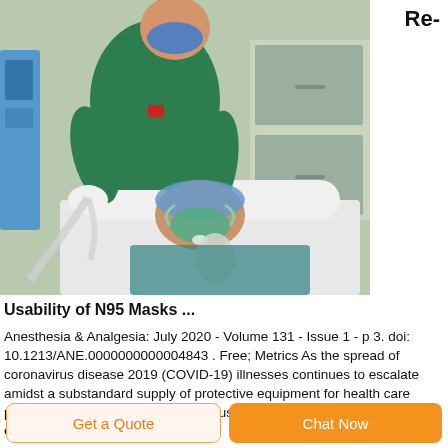Re-
[Figure (photo): A nurse in green scrubs and blue face mask applies a breathing mask to a patient lying on a hospital bed. Medical equipment and cabinets visible in the background.]
Usability of N95 Masks ...
Anesthesia & Analgesia: July 2020 - Volume 131 - Issue 1 - p 3. doi: 10.1213/ANE.0000000000004843 . Free; Metrics As the spread of coronavirus disease 2019 (COVID-19) illnesses continues to escalate amidst a substandard supply of protective equipment for health care providers, the question of extended use or reuse of N95 masks has emerged.
Get a Quote
Chat Now